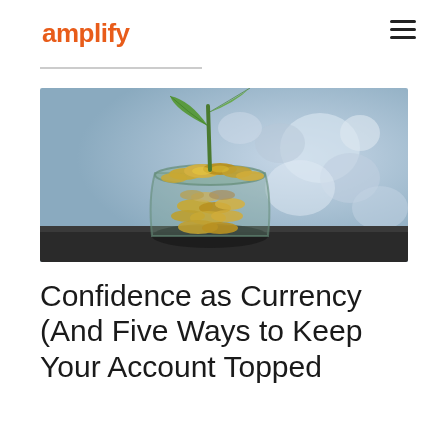amplify
[Figure (photo): A glass jar filled with coins overflowing, with a green plant seedling growing out of the top of the coins, set against a blurred blue-grey background. Dark surface underneath.]
Confidence as Currency (And Five Ways to Keep Your Account Topped